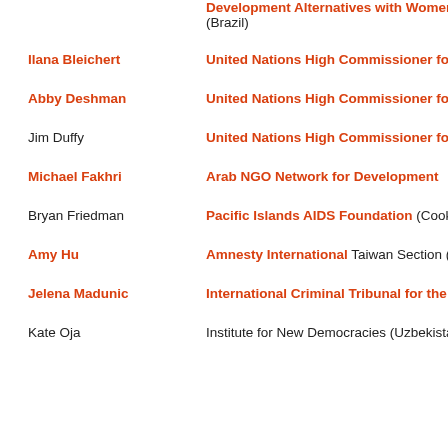[partial] Development Alternatives with Women for a New Era (Brazil)
Ilana Bleichert | United Nations High Commissioner for Refugees
Abby Deshman | United Nations High Commissioner for Refugees
Jim Duffy | United Nations High Commissioner for Refugees
Michael Fakhri | Arab NGO Network for Development
Bryan Friedman | Pacific Islands AIDS Foundation (Cook Islands)
Amy Hu | Amnesty International Taiwan Section (Taiwan)
Jelena Madunic | International Criminal Tribunal for the Former Yugoslavia
Kate Oja | Institute for New Democracies (Uzbekistan)